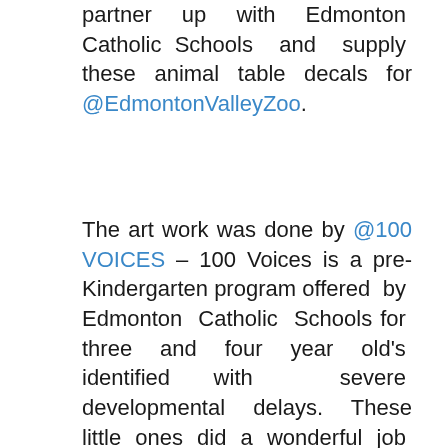partner up with Edmonton Catholic Schools and supply these animal table decals for @EdmontonValleyZoo.
The art work was done by @100 VOICES – 100 Voices is a pre-Kindergarten program offered by Edmonton Catholic Schools for three and four year old's identified with severe developmental delays. These little ones did a wonderful job with the art! The decals can be seen at Piazza and the Urban Barn!
[Figure (photo): Outdoor photo showing a wooden structure with an orange panel, a 'Wildlife Amphitheatre' sign in the background, green grass, and outdoor seating with chairs and tables on the right side.]